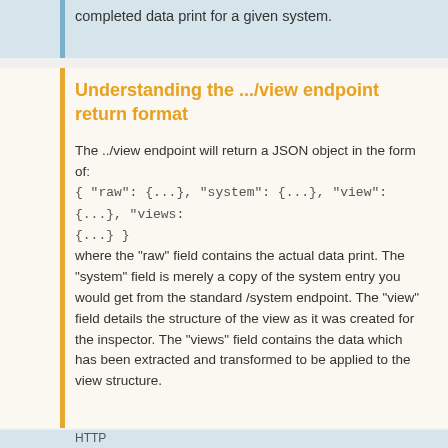completed data print for a given system.
Understanding the .../view endpoint return format
The ../view endpoint will return a JSON object in the form of:
{ "raw": {...}, "system": {...}, "view": {...}, "views: {...} }
where the "raw" field contains the actual data print. The "system" field is merely a copy of the system entry you would get from the standard /system endpoint. The "view" field details the structure of the view as it was created for the inspector. The "views" field contains the data which has been extracted and transformed to be applied to the view structure.
HTTP